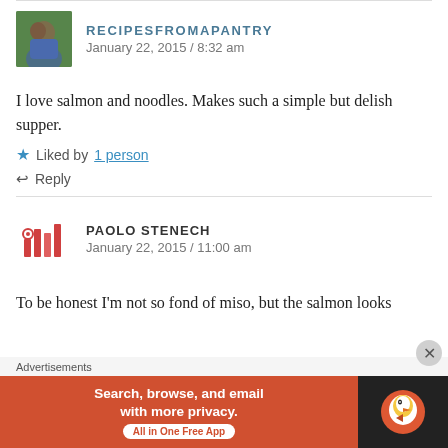[Figure (photo): Avatar photo of RecipesFromAPantry, a woman against a green background]
RECIPESFROMAPANTRY
January 22, 2015 / 8:32 am
I love salmon and noodles. Makes such a simple but delish supper.
★ Liked by 1 person
↩ Reply
[Figure (logo): Paolo Stenech avatar - bar chart / music bars icon in red/pink]
PAOLO STENECH
January 22, 2015 / 11:00 am
To be honest I'm not so fond of miso, but the salmon looks
Advertisements
[Figure (screenshot): DuckDuckGo advertisement banner: Search, browse, and email with more privacy. All in One Free App. Orange background with DuckDuckGo logo on dark right side.]